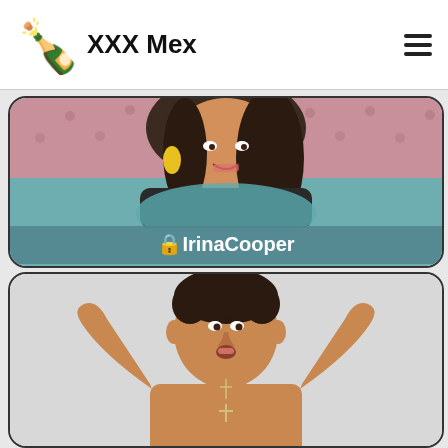XXX Mex
[Figure (photo): Card with photo of a woman with long dark hair, yellow earrings, black top, against a pink tufted background transitioning to teal/blue, with overlay text reading IrinaCooper]
🔒IrinaCooper
[Figure (photo): Card with photo of a young shirtless man with dark curly hair, hands behind his head, wearing a cross necklace, against a light grey background]